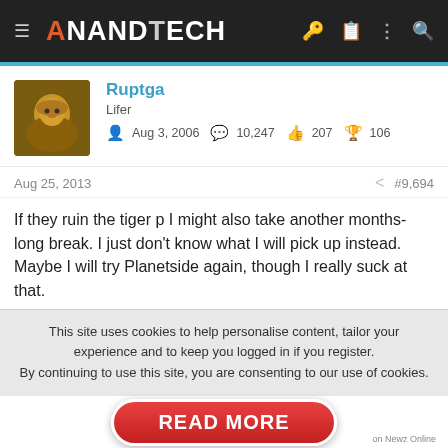AnandTech
Ruptga
Lifer
Aug 3, 2006  10,247  207  106
Aug 25, 2013  #9,694
If they ruin the tiger p I might also take another months-long break. I just don't know what I will pick up instead. Maybe I will try Planetside again, though I really suck at that.
chimaxi83
Diamond Member
This site uses cookies to help personalise content, tailor your experience and to keep you logged in if you register.
By continuing to use this site, you are consenting to our use of cookies.
READ MORE